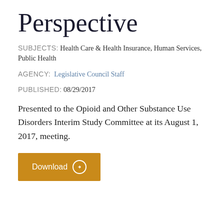Perspective
SUBJECTS: Health Care & Health Insurance, Human Services, Public Health
AGENCY: Legislative Council Staff
PUBLISHED: 08/29/2017
Presented to the Opioid and Other Substance Use Disorders Interim Study Committee at its August 1, 2017, meeting.
[Figure (other): Orange download button with circular arrow icon and text 'Download']